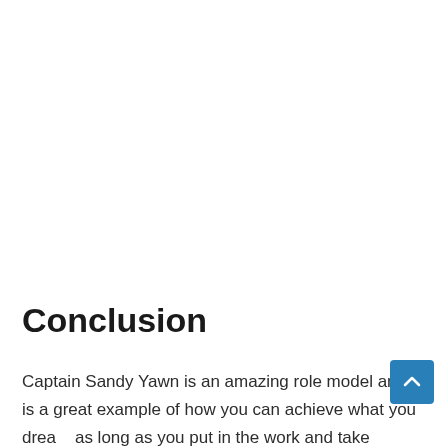Conclusion
Captain Sandy Yawn is an amazing role model and is a great example of how you can achieve what you dream as long as you put in the work and take distractions out of